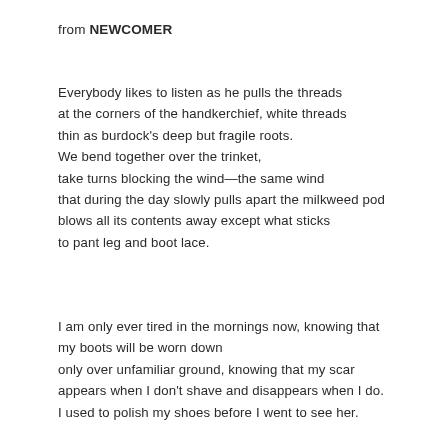from NEWCOMER
Everybody likes to listen as he pulls the threads
at the corners of the handkerchief, white threads
thin as burdock's deep but fragile roots.
We bend together over the trinket,
take turns blocking the wind—the same wind
that during the day slowly pulls apart the milkweed pod
blows all its contents away except what sticks
to pant leg and boot lace.
I am only ever tired in the mornings now, knowing that
my boots will be worn down
only over unfamiliar ground, knowing that my scar
appears when I don't shave and disappears when I do.
I used to polish my shoes before I went to see her.